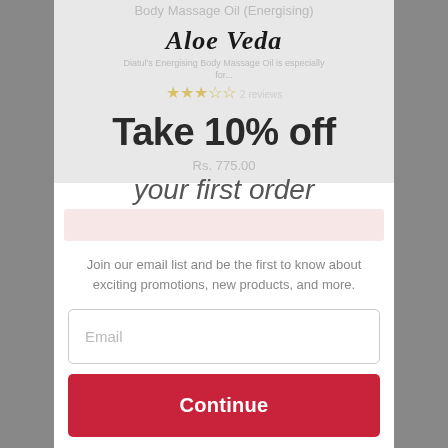[Figure (screenshot): E-commerce popup modal overlay on a product page for Aloe Veda brand, showing a 10% off discount offer for first order with email signup]
Body Massage Oil (Energising)
Aloe Veda
Diatul's Energising Body Massage Oil is specially formulated...
★★★☆☆ 2 reviews
Take 10% off
Rs. 775.00
your first order
Join our email list and be the first to know about exciting promotions, new products, and more.
Email
Continue